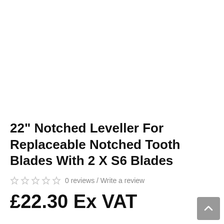[Figure (other): White empty product image area at top of page]
22" Notched Leveller For Replaceable Notched Tooth Blades With 2 X S6 Blades
0 reviews / Write a review
£22.30 Ex VAT